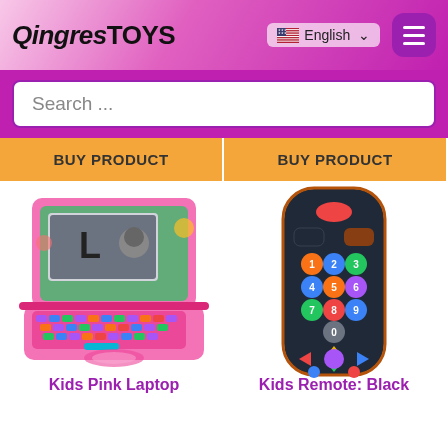QingresTOYS — English — Menu
Search ...
BUY PRODUCT
BUY PRODUCT
[Figure (photo): Pink kids toy laptop with colorful keyboard and screen showing letter L]
Kids Pink Laptop
[Figure (photo): Black kids toy TV remote control with colored buttons and number pad]
Kids Remote: Black